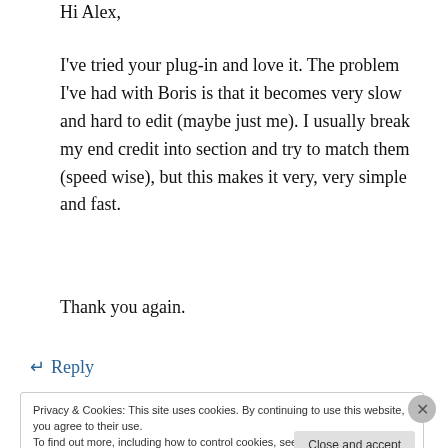Hi Alex,
I've tried your plug-in and love it. The problem I've had with Boris is that it becomes very slow and hard to edit (maybe just me). I usually break my end credit into section and try to match them (speed wise), but this makes it very, very simple and fast.
Thank you again.
↵ Reply
Privacy & Cookies: This site uses cookies. By continuing to use this website, you agree to their use.
To find out more, including how to control cookies, see here: Cookie Policy